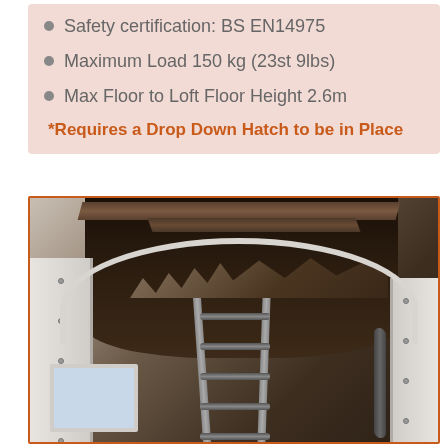Safety certification: BS EN14975
Maximum Load 150 kg (23st 9lbs)
Max Floor to Loft Floor Height 2.6m
*Requires a Drop Down Hatch to be in Place
[Figure (photo): Photograph taken from below looking up at a loft hatch with a drop-down metal ladder extended downward, showing the dark loft interior, wooden beams and insulation above, and white door frame surround with visible screws.]